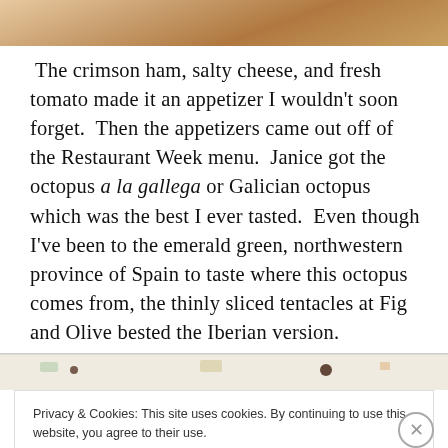[Figure (photo): Top portion of a food photo, showing what appears to be a warm-toned dish from above, cropped at the top of the page.]
The crimson ham, salty cheese, and fresh tomato made it an appetizer I wouldn't soon forget.  Then the appetizers came out off of the Restaurant Week menu.  Janice got the octopus a la gallega or Galician octopus which was the best I ever tasted.  Even though I've been to the emerald green, northwestern province of Spain to taste where this octopus comes from, the thinly sliced tentacles at Fig and Olive bested the Iberian version.
[Figure (photo): Bottom portion of a food photo showing a white plate with thinly sliced octopus tentacles, garnished with small colorful elements including olives and greens.]
Privacy & Cookies: This site uses cookies. By continuing to use this website, you agree to their use.
To find out more, including how to control cookies, see here: Cookie Policy
Close and accept